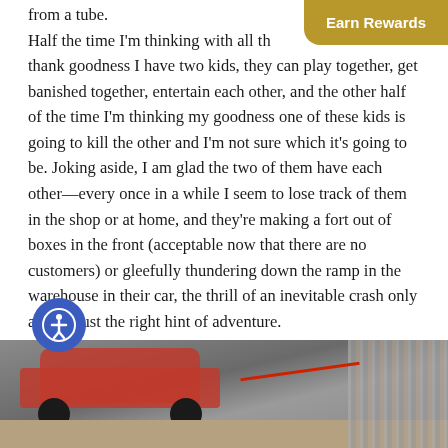from a tube.
Half the time I'm thinking with all th… thank goodness I have two kids, they can play together, get banished together, entertain each other, and the other half of the time I'm thinking my goodness one of these kids is going to kill the other and I'm not sure which it's going to be. Joking aside, I am glad the two of them have each other—every once in a while I seem to lose track of them in the shop or at home, and they're making a fort out of boxes in the front (acceptable now that there are no customers) or gleefully thundering down the ramp in the warehouse in their car, the thrill of an inevitable crash only adding just the right hint of adventure.
Tomorrow, we're back at it.
[Figure (photo): Outdoor photo showing a red vehicle and wooden structures or posts in the background, with a red cable or rope visible.]